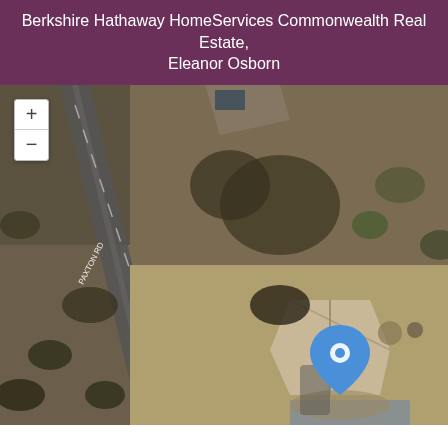Berkshire Hathaway HomeServices Commonwealth Real Estate, Eleanor Osborn
[Figure (map): Aerial/satellite map view showing a residential property with a house and outbuilding visible from above, surrounded by trees and bare land, with a road running diagonally on the left side. A blue location pin marker is placed on the house. Map zoom controls (+/-) are visible in the upper left corner.]